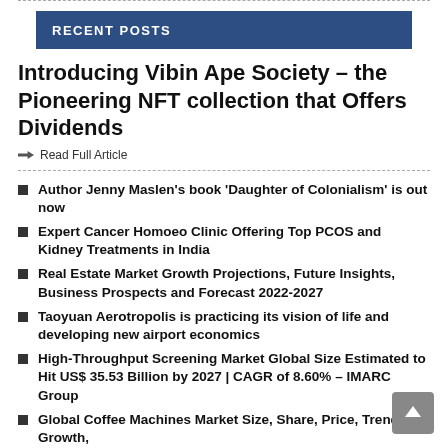RECENT POSTS
Introducing Vibin Ape Society – the Pioneering NFT collection that Offers Dividends
Read Full Article
Author Jenny Maslen's book 'Daughter of Colonialism' is out now
Expert Cancer Homoeo Clinic Offering Top PCOS and Kidney Treatments in India
Real Estate Market Growth Projections, Future Insights, Business Prospects and Forecast 2022-2027
Taoyuan Aerotropolis is practicing its vision of life and developing new airport economics
High-Throughput Screening Market Global Size Estimated to Hit US$ 35.53 Billion by 2027 | CAGR of 8.60% – IMARC Group
Global Coffee Machines Market Size, Share, Price, Trends, Growth,